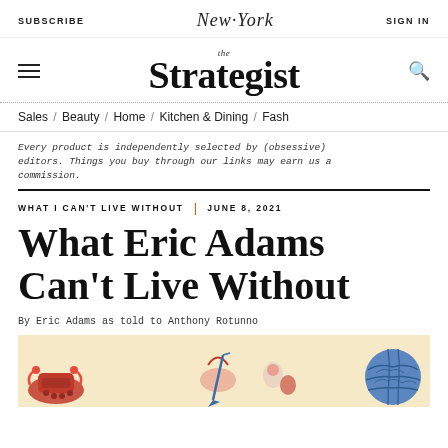SUBSCRIBE | New York | SIGN IN
the Strategist
Sales / Beauty / Home / Kitchen & Dining / Fash
Every product is independently selected by (obsessive) editors. Things you buy through our links may earn us a commission.
WHAT I CAN'T LIVE WITHOUT | JUNE 8, 2021
What Eric Adams Can't Live Without
By Eric Adams as told to Anthony Rotunno
[Figure (illustration): Illustrated product collage on cream/yellow background showing various items including a red retro telephone, blue waffle-textured ball, and other products]